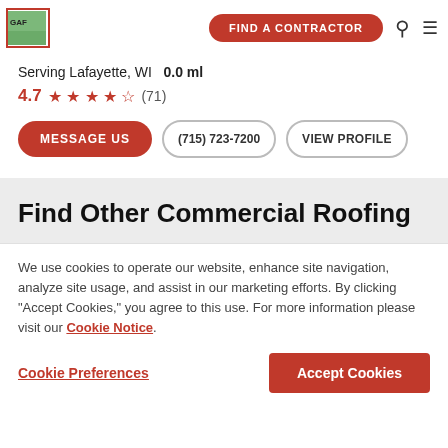[Figure (logo): GAF logo in red border box with green background]
FIND A CONTRACTOR
Serving Lafayette, WI   0.0 ml
4.7 ★ ★ ★ ★ ★ (71)
MESSAGE US   (715) 723-7200   VIEW PROFILE
Find Other Commercial Roofing
We use cookies to operate our website, enhance site navigation, analyze site usage, and assist in our marketing efforts. By clicking "Accept Cookies," you agree to this use. For more information please visit our Cookie Notice.
Cookie Preferences   Accept Cookies